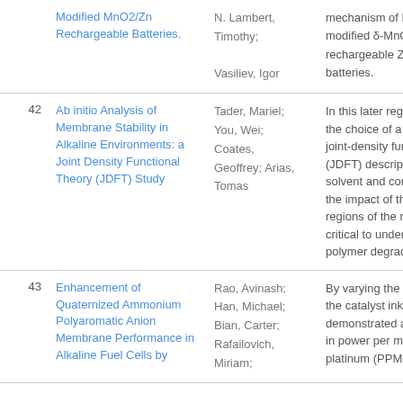| # | Title | Authors | Abstract |
| --- | --- | --- | --- |
|  | Modified MnO2/Zn Rechargeable Batteries. | N. Lambert, Timothy; Vasiliev, Igor | mechanism of Bi- and modified δ-MnO 2 electro rechargeable Zn/MnO 2 batteries. |
| 42 | Ab initio Analysis of Membrane Stability in Alkaline Environments: a Joint Density Functional Theory (JDFT) Study | Tader, Mariel; You, Wei; Coates, Geoffrey; Arias, Tomas | In this later regard, we fi the choice of a first-prin joint-density functional (JDFT) description of th solvent and considerati the impact of the hydro regions of the membran critical to understanding polymer degradation pr |
| 43 | Enhancement of Quaternized Ammonium Polyaromatic Anion Membrane Performance in Alkaline Fuel Cells by | Rao, Avinash; Han, Michael; Bian, Carter; Rafailovich, Miriam; | By varying the composi the catalyst ink, we demonstrated a 453% i in power per milligram platinum (PPMP) from |